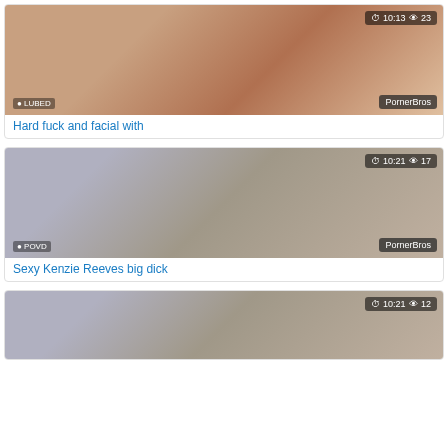[Figure (screenshot): Video thumbnail card 1: adult content video thumbnail with duration 10:13 and 23 views, branded LUBED and PornerBros]
Hard fuck and facial with
[Figure (screenshot): Video thumbnail card 2: adult content video thumbnail with duration 10:21 and 17 views, branded POVD and PornerBros]
Sexy Kenzie Reeves big dick
[Figure (screenshot): Video thumbnail card 3 (partial): adult content video thumbnail with duration 10:21 and 12 views]